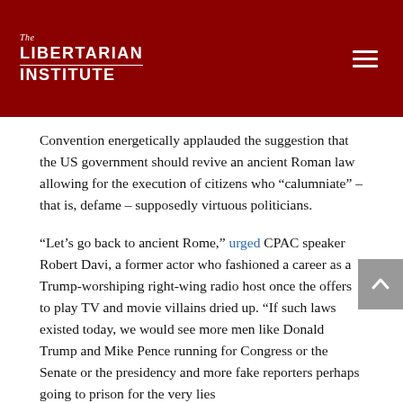The Libertarian Institute
Convention energetically applauded the suggestion that the US government should revive an ancient Roman law allowing for the execution of citizens who “calumniate” – that is, defame – supposedly virtuous politicians.
“Let’s go back to ancient Rome,” urged CPAC speaker Robert Davi, a former actor who fashioned a career as a Trump-worshiping right-wing radio host once the offers to play TV and movie villains dried up. “If such laws existed today, we would see more men like Donald Trump and Mike Pence running for Congress or the Senate or the presidency and more fake reporters perhaps going to prison for the very lies